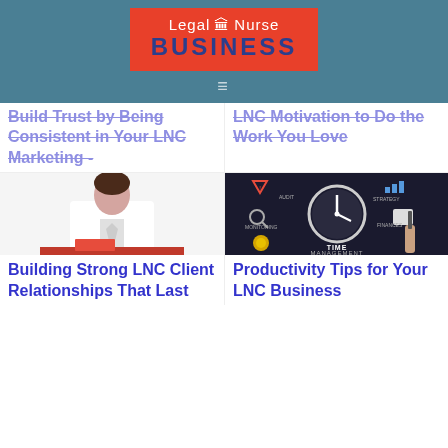[Figure (logo): Legal Nurse Business logo — red rectangle with white 'Legal Nurse' text and dark blue 'BUSINESS' text, on a teal header background with hamburger menu icon below]
Build Trust by Being Consistent in Your LNC Marketing -
LNC Motivation to Do the Work You Love
[Figure (photo): Professional woman in white shirt standing behind a desk with red folders]
[Figure (photo): Dark background with clock and business infographic icons labeled TIME MANAGEMENT]
Building Strong LNC Client Relationships That Last
Productivity Tips for Your LNC Business